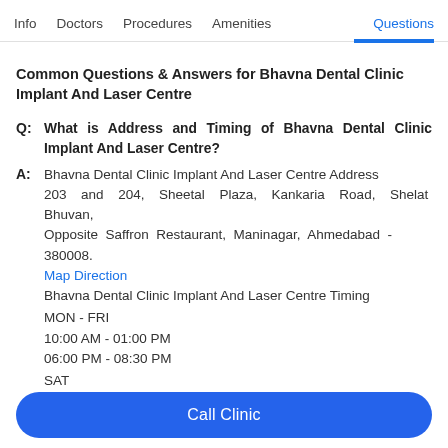Info   Doctors   Procedures   Amenities   Questions
Common Questions & Answers for Bhavna Dental Clinic Implant And Laser Centre
Q: What is Address and Timing of Bhavna Dental Clinic Implant And Laser Centre?
A: Bhavna Dental Clinic Implant And Laser Centre Address 203 and 204, Sheetal Plaza, Kankaria Road, Shelat Bhuvan, Opposite Saffron Restaurant, Maninagar, Ahmedabad - 380008.
Map Direction
Bhavna Dental Clinic Implant And Laser Centre Timing
MON - FRI
10:00 AM - 01:00 PM
06:00 PM - 08:30 PM
SAT
10:00 AM - 12:30 PM
For more information visit the Bhavna Dental Clinic Implant And
Call Clinic